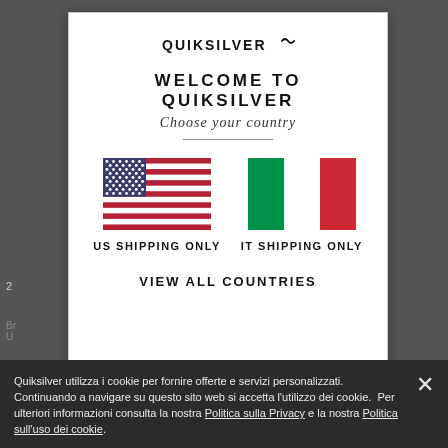[Figure (logo): Quiksilver logo with wave icon]
WELCOME TO QUIKSILVER
Choose your country
[Figure (illustration): US flag and Italian flag side by side, labeled US SHIPPING ONLY and IT SHIPPING ONLY]
VIEW ALL COUNTRIES
Quiksilver utilizza i cookie per fornire offerte e servizi personalizzati. Continuando a navigare su questo sito web si accetta l’utilizzo dei cookie.  Per ulteriori informazioni consulta la nostra Politica sulla Privacy e la nostra Politica sull’uso dei cookie.